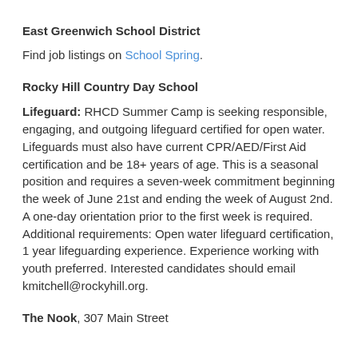East Greenwich School District
Find job listings on School Spring.
Rocky Hill Country Day School
Lifeguard: RHCD Summer Camp is seeking responsible, engaging, and outgoing lifeguard certified for open water. Lifeguards must also have current CPR/AED/First Aid certification and be 18+ years of age. This is a seasonal position and requires a seven-week commitment beginning the week of June 21st and ending the week of August 2nd. A one-day orientation prior to the first week is required. Additional requirements: Open water lifeguard certification, 1 year lifeguarding experience. Experience working with youth preferred. Interested candidates should email kmitchell@rockyhill.org.
The Nook, 307 Main Street